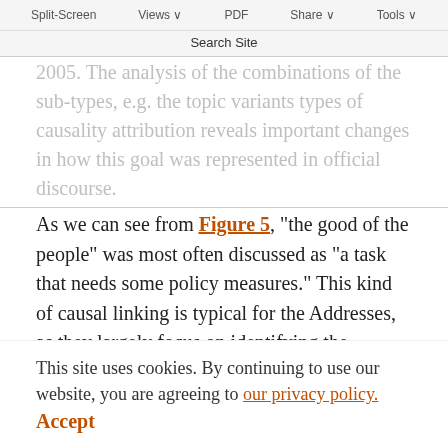Split-Screen | Views | PDF | Share | Tools | Search Site
2005. The analysis of the combinations of the sub-types, e.g. the topic variants types of causality attribution reveals important changes in how this goal was represented in official discourse.
As we can see from Figure 5, “the good of the people” was most often discussed as “a task that needs some policy measures.” This kind of causal linking is typical for the Addresses, as they largely focus on identifying the problems that need to be solved. Discussing “the good of the people” was often connected with assessment of the results of
elites’ activity. In 2000–07, Putin often lamented the negative legacy of Russia’s past, claiming that his own policy made people’s life slightly better. In 2012–20, about one-third of Putin’s statements
This site uses cookies. By continuing to use our website, you are agreeing to our privacy policy. Accept